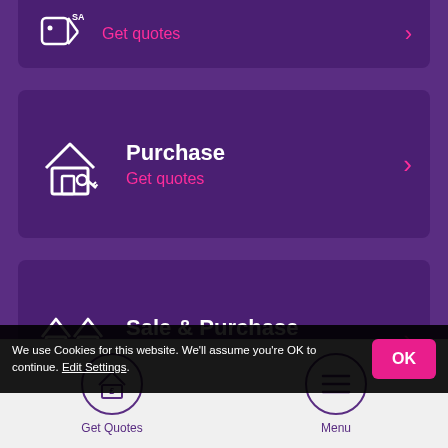[Figure (screenshot): Mobile app screenshot showing conveyancing quote menu options. Top partial card with sale tag icon and 'Get quotes' in pink. Purchase card with house-key icon, white title 'Purchase', pink subtitle 'Get quotes', pink arrow. Sale & Purchase card with house-arrows icon, white title 'Sale & Purchase', pink subtitle 'Get quotes', pink arrow. Cookie consent banner overlay. Partially visible Remortgage card below. Bottom navigation bar with 'Get Quotes' (pound house icon) and 'Menu' (hamburger icon) buttons.]